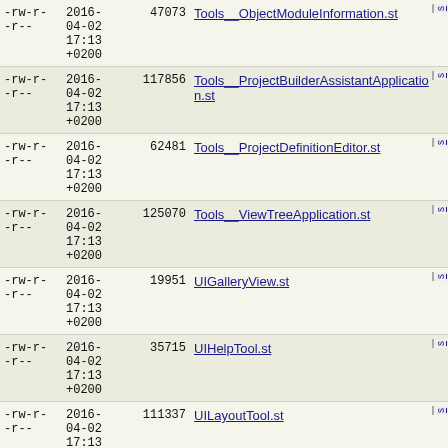| permissions | date | size | filename |
| --- | --- | --- | --- |
| -rw-r--r-- | 2016-04-02 17:13 +0200 | 47073 | Tools__ObjectModuleInformation.st |
| -rw-r--r-- | 2016-04-02 17:13 +0200 | 117856 | Tools__ProjectBuilderAssistantApplication.st |
| -rw-r--r-- | 2016-04-02 17:13 +0200 | 62481 | Tools__ProjectDefinitionEditor.st |
| -rw-r--r-- | 2016-04-02 17:13 +0200 | 125070 | Tools__ViewTreeApplication.st |
| -rw-r--r-- | 2016-04-02 17:13 +0200 | 19951 | UIGalleryView.st |
| -rw-r--r-- | 2016-04-02 17:13 +0200 | 35715 | UIHelpTool.st |
| -rw-r--r-- | 2016-04-02 17:13 +0200 | 111337 | UILayoutTool.st |
| -rw-r--r-- | 2016-04-02 | 5019 | UIListEditor.st |